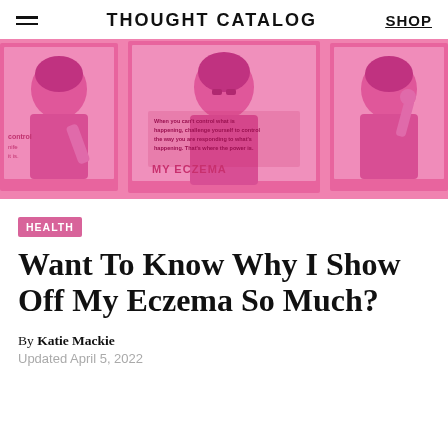THOUGHT CATALOG  SHOP
[Figure (illustration): Pink-tinted illustration of a person with eczema, shown in a polaroid-style layout with repeated panels. Text on center panel reads: 'When you can't control what is happening, challenge yourself to control the way you are responding to what's happening. That's where the power is.']
HEALTH
Want To Know Why I Show Off My Eczema So Much?
By Katie Mackie
Updated April 5, 2022